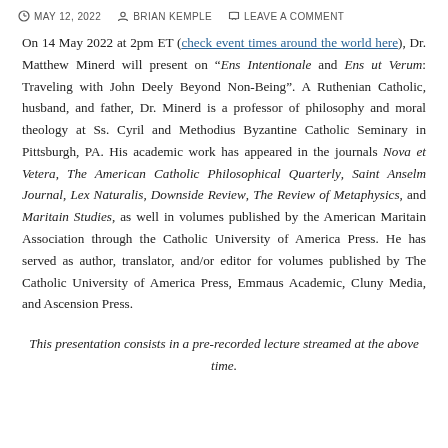MAY 12, 2022  BRIAN KEMPLE  LEAVE A COMMENT
On 14 May 2022 at 2pm ET (check event times around the world here), Dr. Matthew Minerd will present on “Ens Intentionale and Ens ut Verum: Traveling with John Deely Beyond Non-Being”. A Ruthenian Catholic, husband, and father, Dr. Minerd is a professor of philosophy and moral theology at Ss. Cyril and Methodius Byzantine Catholic Seminary in Pittsburgh, PA. His academic work has appeared in the journals Nova et Vetera, The American Catholic Philosophical Quarterly, Saint Anselm Journal, Lex Naturalis, Downside Review, The Review of Metaphysics, and Maritain Studies, as well in volumes published by the American Maritain Association through the Catholic University of America Press. He has served as author, translator, and/or editor for volumes published by The Catholic University of America Press, Emmaus Academic, Cluny Media, and Ascension Press.
This presentation consists in a pre-recorded lecture streamed at the above time.